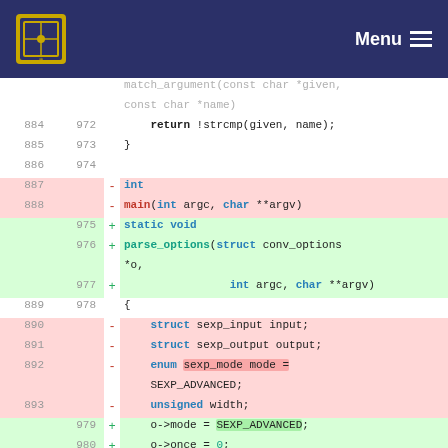Menu
[Figure (screenshot): Code diff view showing changes between old and new versions of C source code, with line numbers, removed lines in red/pink background, added lines in green background, and syntax highlighting.]